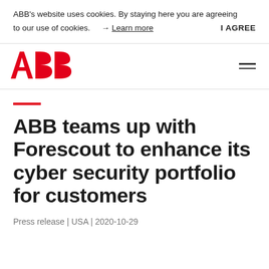ABB's website uses cookies. By staying here you are agreeing to our use of cookies.  → Learn more  I AGREE
[Figure (logo): ABB logo in red with large bold letters A, B, B]
ABB teams up with Forescout to enhance its cyber security portfolio for customers
Press release | USA | 2020-10-29